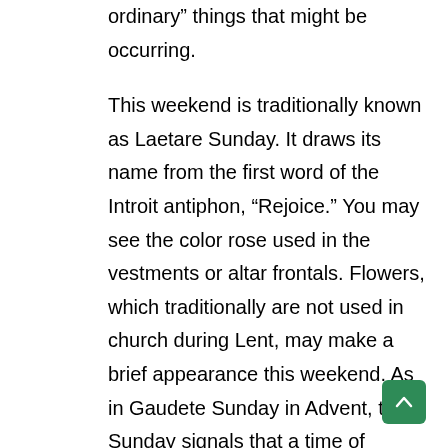ordinary” things that might be occurring.

This weekend is traditionally known as Laetare Sunday. It draws its name from the first word of the Introit antiphon, “Rejoice.” You may see the color rose used in the vestments or altar frontals. Flowers, which traditionally are not used in church during Lent, may make a brief appearance this weekend. As in Gaudete Sunday in Advent, this Sunday signals that a time of particular renewal and penance is nearing its conclusion. For some of us, the sight of the rose color will be welcome, because indeed, we have been focused during this Lenten time to give more time to prayer, fasting and almsgiving. For others, the rose color might